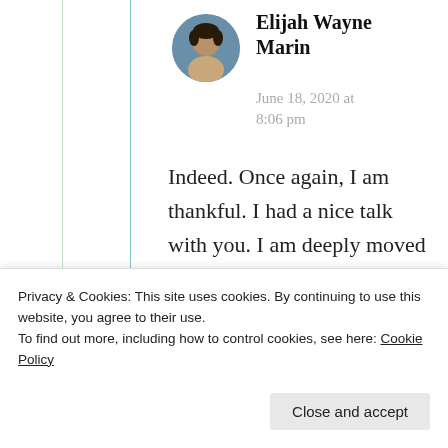Elijah Wayne Marin
June 18, 2020 at 8:06 pm
Indeed. Once again, I am thankful. I had a nice talk with you. I am deeply moved and reminded too.
★ Liked by 1 person
Privacy & Cookies: This site uses cookies. By continuing to use this website, you agree to their use.
To find out more, including how to control cookies, see here: Cookie Policy